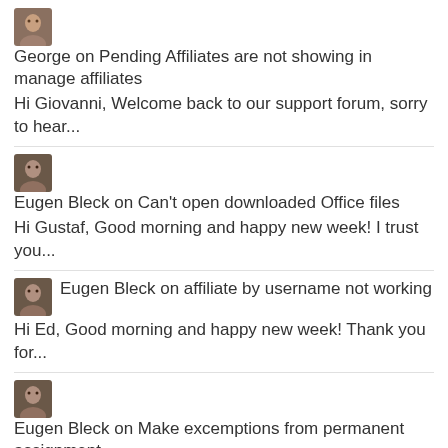George on Pending Affiliates are not showing in manage affiliates
Hi Giovanni, Welcome back to our support forum, sorry to hear...
Eugen Bleck on Can't open downloaded Office files
Hi Gustaf, Good morning and happy new week! I trust you...
Eugen Bleck on affiliate by username not working
Hi Ed, Good morning and happy new week! Thank you for...
Eugen Bleck on Make excemptions from permanent assignment
Hi Robert, Good morning and happy new week! I